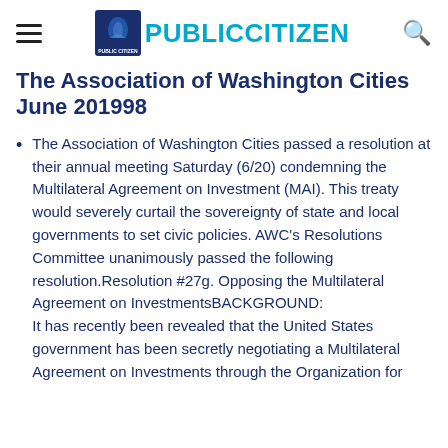PUBLIC CITIZEN
The Association of Washington Cities June 201998
The Association of Washington Cities passed a resolution at their annual meeting Saturday (6/20) condemning the Multilateral Agreement on Investment (MAI). This treaty would severely curtail the sovereignty of state and local governments to set civic policies. AWC's Resolutions Committee unanimously passed the following resolution.Resolution #27g. Opposing the Multilateral Agreement on InvestmentsBACKGROUND:
It has recently been revealed that the United States government has been secretly negotiating a Multilateral Agreement on Investments through the Organization for